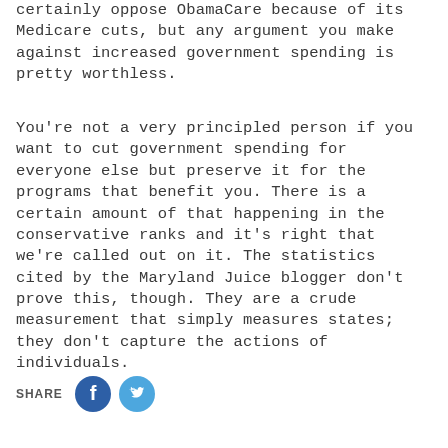certainly oppose ObamaCare because of its Medicare cuts, but any argument you make against increased government spending is pretty worthless.
You're not a very principled person if you want to cut government spending for everyone else but preserve it for the programs that benefit you. There is a certain amount of that happening in the conservative ranks and it's right that we're called out on it. The statistics cited by the Maryland Juice blogger don't prove this, though. They are a crude measurement that simply measures states; they don't capture the actions of individuals.
SHARE [Facebook] [Twitter]